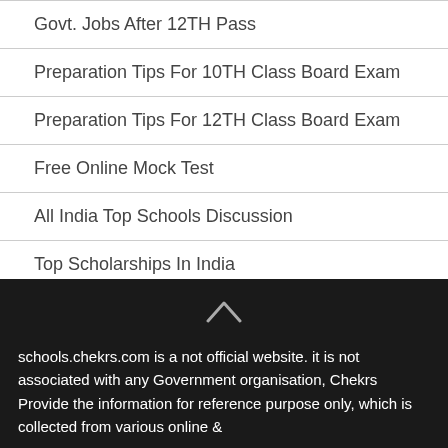Govt. Jobs After 12TH Pass
Preparation Tips For 10TH Class Board Exam
Preparation Tips For 12TH Class Board Exam
Free Online Mock Test
All India Top Schools Discussion
Top Scholarships In India
Girls Scholarships In India
School Admission
schools.chekrs.com is a not official website. it is not associated with any Government organisation, Chekrs Provide the information for reference purpose only, which is collected from various online &